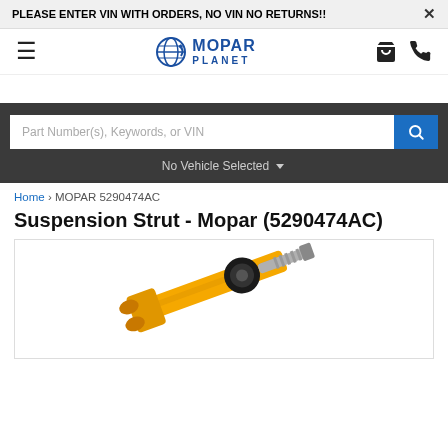PLEASE ENTER VIN WITH ORDERS, NO VIN NO RETURNS!!
[Figure (logo): Mopar Planet logo with globe icon, blue text MOPAR PLANET]
No Vehicle Selected
Home > MOPAR 5290474AC
Suspension Strut - Mopar (5290474AC)
[Figure (photo): Yellow suspension strut with black mount and metallic bolt end, partially visible]